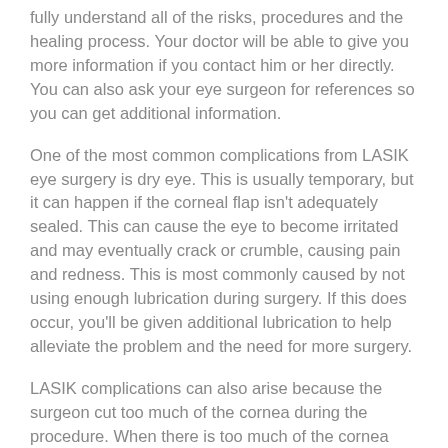fully understand all of the risks, procedures and the healing process. Your doctor will be able to give you more information if you contact him or her directly. You can also ask your eye surgeon for references so you can get additional information.
One of the most common complications from LASIK eye surgery is dry eye. This is usually temporary, but it can happen if the corneal flap isn't adequately sealed. This can cause the eye to become irritated and may eventually crack or crumble, causing pain and redness. This is most commonly caused by not using enough lubrication during surgery. If this does occur, you'll be given additional lubrication to help alleviate the problem and the need for more surgery.
LASIK complications can also arise because the surgeon cut too much of the cornea during the procedure. When there is too much of the cornea removed, it can distort the